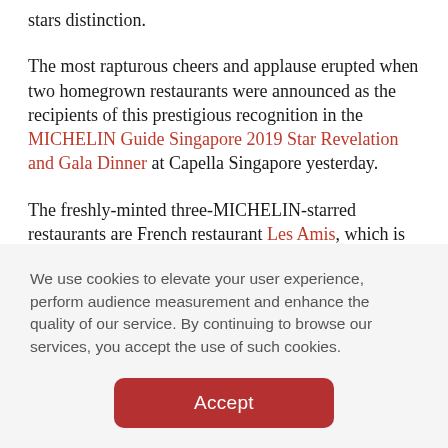stars distinction.
The most rapturous cheers and applause erupted when two homegrown restaurants were announced as the recipients of this prestigious recognition in the MICHELIN Guide Singapore 2019 Star Revelation and Gala Dinner at Capella Singapore yesterday.
The freshly-minted three-MICHELIN-starred restaurants are French restaurant Les Amis, which is
We use cookies to elevate your user experience, perform audience measurement and enhance the quality of our service. By continuing to browse our services, you accept the use of such cookies.
Accept